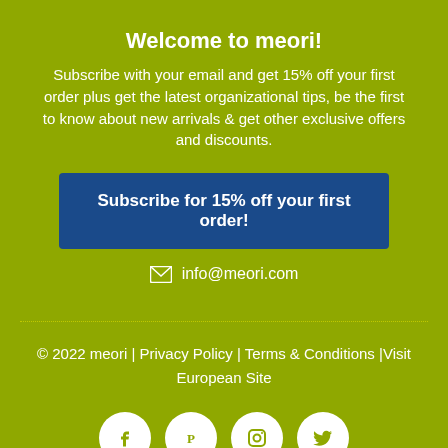Welcome to meori!
Subscribe with your email and get 15% off your first order plus get the latest organizational tips, be the first to know about new arrivals & get other exclusive offers and discounts.
Subscribe for 15% off your first order!
info@meori.com
© 2022 meori | Privacy Policy | Terms & Conditions |Visit European Site
[Figure (other): Social media icons: Facebook, Pinterest, Instagram, Twitter in white circles on olive/green background]